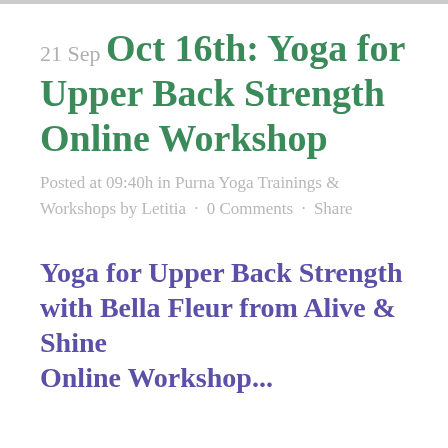21 Sep Oct 16th: Yoga for Upper Back Strength Online Workshop
Posted at 09:40h in Purna Yoga Trainings & Workshops by Letitia · 0 Comments · Share
Yoga for Upper Back Strength with Bella Fleur from Alive & Shine Online Workshop...